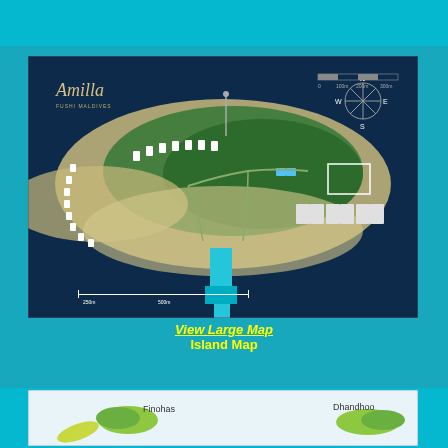[Figure (map): Aerial island map of Amilla Fushi resort showing the island layout with villas, vegetation, jetty, and compass rose. Shows scale bar and Amilla logo in top-left corner.]
View Large Map
Island Map
[Figure (map): Partial map showing nearby islands including Finohas and Dhandhoo in the Maldives atoll.]